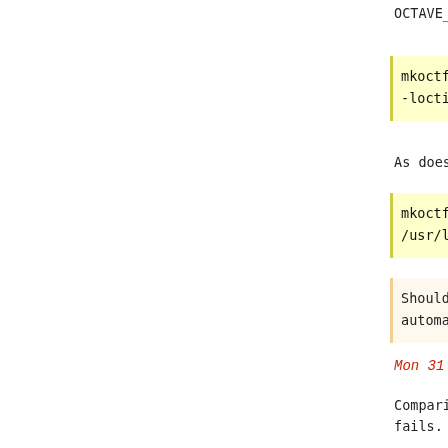OCTAVE_LIBS contains the intended s...
mkoctfile -p OCTAVE_LIBS
-loctinterp -loctave
As does OCTLIBDIR
mkoctfile -p OCTLIBDIR
/usr/local/bpabbott/octave/lib/octa...
Should OCTAVE_LIBS and OCTLIBDIR be...
automatically?
Mon 31 Dec 2018 09:49:42 AM UTC, c...
Comparing verbose output from mkoct...
fails.
Octave-6.0.0 Compile:
g++ -std=gnu++11 -c -I/usr/local/op...
I/usr/local/opt/sqlite/include -I/u...
I/usr/local/opt/gettext/include -I/...
I/usr/local/opt/qt5/include -I/usr/...
I/usr/local/opt/zlib/include -fPIC
I/usr/local/bpabbott/octave/include...